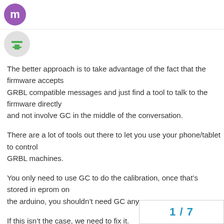[Figure (logo): Makercademy/forum logo: purple circle with a stylized M icon]
[Figure (illustration): User avatar: circular avatar with green/teal icon on gray background]
The better approach is to take advantage of the fact that the firmware accepts GRBL compatible messages and just find a tool to talk to the firmware directly and not involve GC in the middle of the conversation.

There are a lot of tools out there to let you use your phone/tablet to control GRBL machines.

You only need to use GC to do the calibration, once that’s stored in eprom on the arduino, you shouldn’t need GC any more.

If this isn’t the case, we need to fix it.
1 / 7